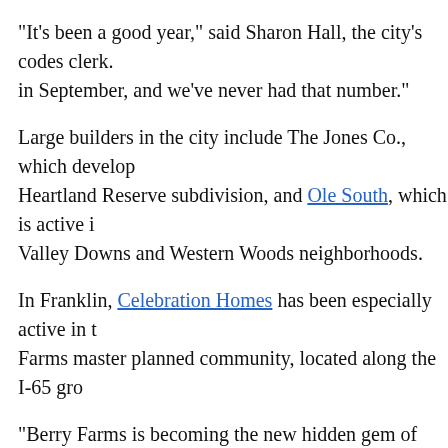"It's been a good year," said Sharon Hall, the city's codes clerk. in September, and we've never had that number."
Large builders in the city include The Jones Co., which develop Heartland Reserve subdivision, and Ole South, which is active i Valley Downs and Western Woods neighborhoods.
In Franklin, Celebration Homes has been especially active in t Farms master planned community, located along the I-65 gro
"Berry Farms is becoming the new hidden gem of Franklin," sa Celebration Homes President Randall Smith.
Values are rising along with the number of homes built, he sai
"Where we had home sales when we started in 2013 in the upp we now have luxury residences in the $500,000s to over $800,00 larger estate homes are planned soon that will be near $1 mil by Celebration Homes and Ford Custom Homes, said Smith.